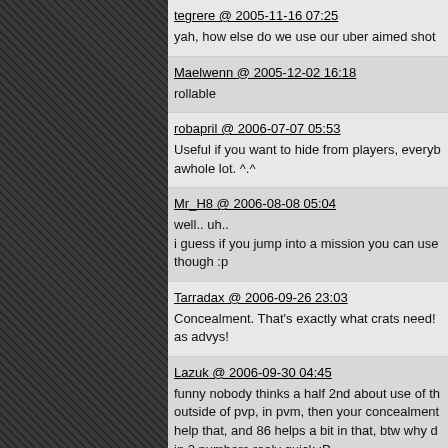tegrere @ 2005-11-16 07:25
yah, how else do we use our uber aimed shot
Maelwenn @ 2005-12-02 16:18
rollable
robapril @ 2006-07-07 05:53
Useful if you want to hide from players, everyb... awhole lot. ^.^
Mr_H8 @ 2006-08-08 05:04
well.. uh..
i guess if you jump into a mission you can use though :p
Tarradax @ 2006-09-26 23:03
Concealment. That's exactly what crats need! as advys!
Lazuk @ 2006-09-30 04:45
funny nobody thinks a half 2nd about use of th... outside of pvp, in pvm, then your concealment help that, and 86 helps a bit in that, btw why d... in 2 numbers realy quick :P